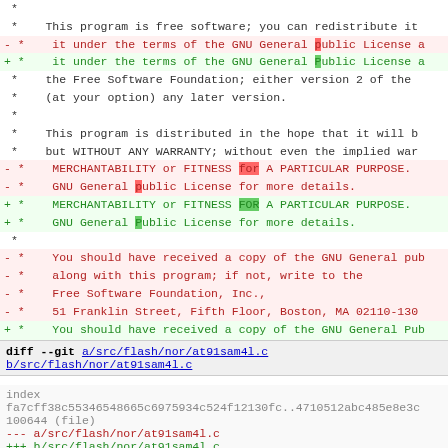*
 *    This program is free software; you can redistribute it
- *    it under the terms of the GNU General public License a
+ *    it under the terms of the GNU General Public License a
 *    the Free Software Foundation; either version 2 of the
 *    (at your option) any later version.
 *
 *    This program is distributed in the hope that it will b
 *    but WITHOUT ANY WARRANTY; without even the implied war
- *    MERCHANTABILITY or FITNESS for A PARTICULAR PURPOSE.
- *    GNU General public License for more details.
+ *    MERCHANTABILITY or FITNESS FOR A PARTICULAR PURPOSE.
+ *    GNU General Public License for more details.
 *
- *    You should have received a copy of the GNU General pub
- *    along with this program; if not, write to the
- *    Free Software Foundation, Inc.,
- *    51 Franklin Street, Fifth Floor, Boston, MA 02110-130
+ *    You should have received a copy of the GNU General Pub
+ *    along with this program.  If not, see <http://www.gnu.
 *    ****...

 /* Some of the the lower level code was based on code suppl
diff --git a/src/flash/nor/at91sam4l.c b/src/flash/nor/at91sam4l.c
index fa7cff38c55346548665c6975934c524f12130fc..4710512abc485e8e3c 100644 (file)
--- a/src/flash/nor/at91sam4l.c
+++ b/src/flash/nor/at91sam4l.c
@@ -13,9 +13,7 @@